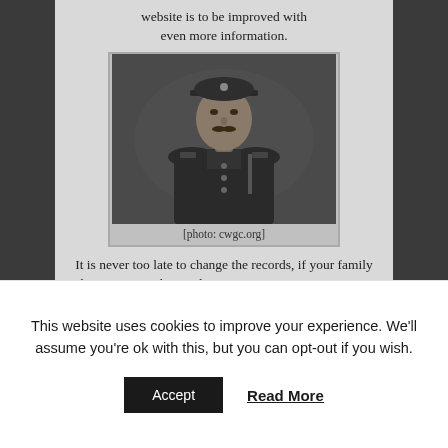website is to be improved with even more information.
[Figure (photo): Black and white portrait photograph of a WWI soldier in uniform wearing a peaked cap. Caption reads: [photo: cwgc.org]]
[photo: cwgc.org]
It is never too late to change the records, if your family history research reveals an error or omission. In once case, a serviceman who died 99 years ago recently received a CWGC
This website uses cookies to improve your experience. We'll assume you're ok with this, but you can opt-out if you wish.
Accept   Read More